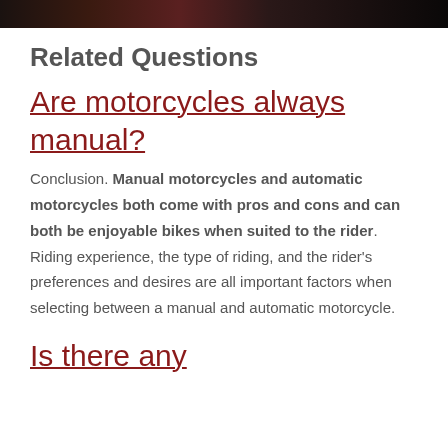[Figure (photo): Dark image bar at top of page, appears to be a cropped photo of motorcycles or riders]
Related Questions
Are motorcycles always manual?
Conclusion. Manual motorcycles and automatic motorcycles both come with pros and cons and can both be enjoyable bikes when suited to the rider. Riding experience, the type of riding, and the rider's preferences and desires are all important factors when selecting between a manual and automatic motorcycle.
Is there any